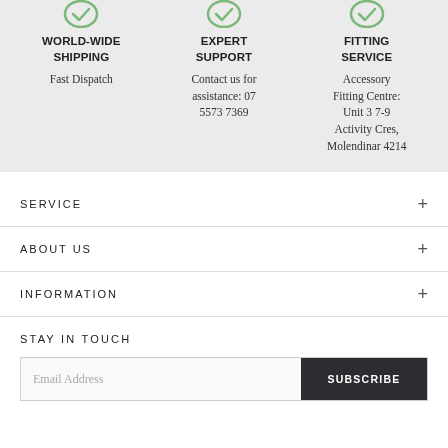[Figure (illustration): Green circular checkmark icon above WORLD-WIDE SHIPPING column]
WORLD-WIDE SHIPPING
Fast Dispatch
[Figure (illustration): Green circular checkmark icon above EXPERT SUPPORT column]
EXPERT SUPPORT
Contact us for assistance: 07 5573 7369
[Figure (illustration): Green circular checkmark icon above FITTING SERVICE column]
FITTING SERVICE
Accessory Fitting Centre: Unit 3 7-9 Activity Cres, Molendinar 4214
SERVICE
ABOUT US
INFORMATION
STAY IN TOUCH
Email Address
SUBSCRIBE